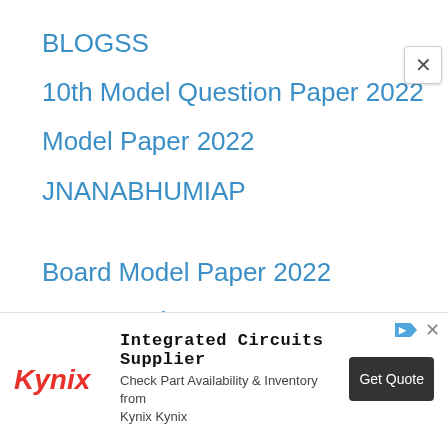BLOGSS
10th Model Question Paper 2022
Model Paper 2022
JNANABHUMIAP
Board Model Paper 2022
99 Networks
25 Penny
BSNL TeleServicess
[Figure (infographic): Kynix advertisement banner: Integrated Circuits Supplier. Check Part Availability & Inventory from Kynix Kynix. Get Quote button.]